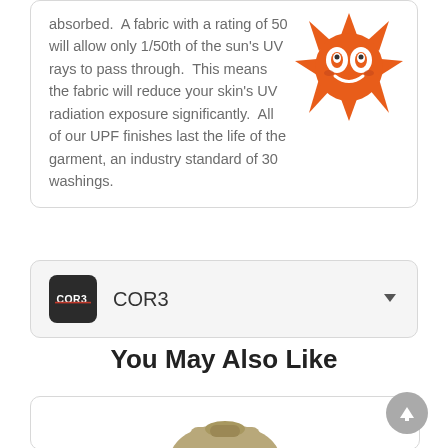absorbed.  A fabric with a rating of 50 will allow only 1/50th of the sun's UV rays to pass through.  This means the fabric will reduce your skin's UV radiation exposure significantly.  All of our UPF finishes last the life of the garment, an industry standard of 30 washings.
[Figure (illustration): Orange cartoon sun face with eyes and rays, smiling]
COR3
You May Also Like
[Figure (photo): Partial view of a khaki/olive garment at bottom of page]